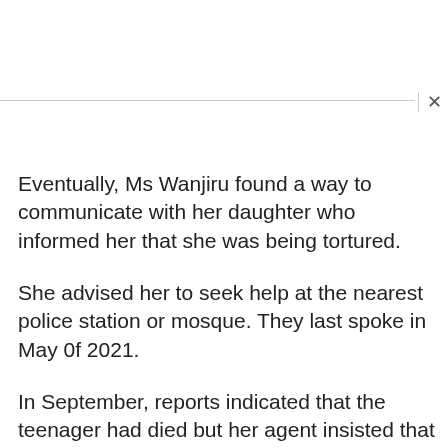Eventually, Ms Wanjiru found a way to communicate with her daughter who informed her that she was being tortured.
She advised her to seek help at the nearest police station or mosque. They last spoke in May 0f 2021.
In September, reports indicated that the teenager had died but her agent insisted that she was still alive